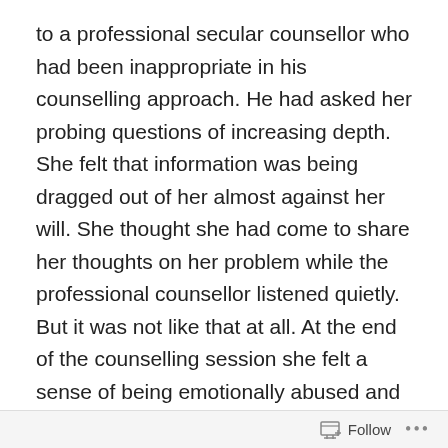to a professional secular counsellor who had been inappropriate in his counselling approach. He had asked her probing questions of increasing depth. She felt that information was being dragged out of her almost against her will. She thought she had come to share her thoughts on her problem while the professional counsellor listened quietly. But it was not like that at all. At the end of the counselling session she felt a sense of being emotionally abused and vowed never to return to the same man for a second “bout”.
This happened about the same time as I read of a counsellor being taken to court for what a counselee saw as emotional damage coming from her appointment with him. It was said in court that he had wrongly identified
Follow ...